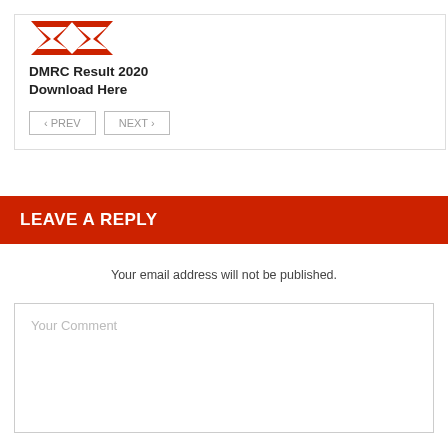[Figure (logo): DMRC red logo/emblem at top of card]
DMRC Result 2020 Download Here
< PREV   NEXT >
LEAVE A REPLY
Your email address will not be published.
Your Comment